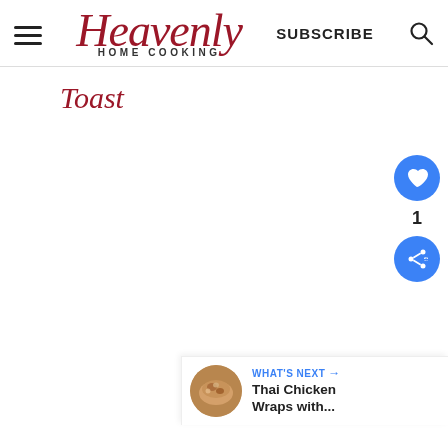Heavenly HOME COOKING | SUBSCRIBE
Toast
[Figure (infographic): Floating action buttons: blue circle with heart icon, count '1', blue circle with share icon]
[Figure (infographic): What's Next widget: thumbnail of Thai chicken wraps dish, label 'WHAT'S NEXT →', title 'Thai Chicken Wraps with...']